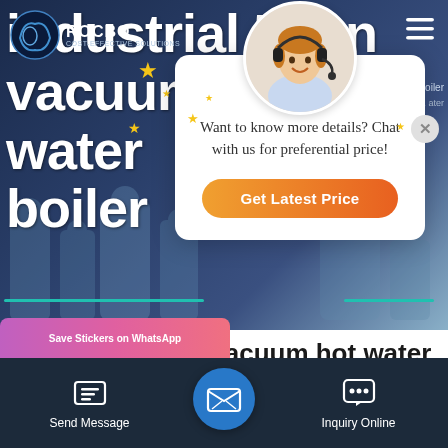[Figure (screenshot): Hero banner showing industrial boiler product page background with dark blue gradient and large white bold text reading 'industrial 5 ton vacuum hot water boiler']
[Figure (infographic): Chat popup overlay with agent photo (woman with headset), close button, text 'Want to know more details? Chat with us for preferential price!' and orange 'Get Latest Price' button]
industrial 5 ton vacuum hot water boiler for sale
[Figure (screenshot): Bottom navigation bar with Send Message and Inquiry Online buttons, WhatsApp sticker save banner, and central email icon button]